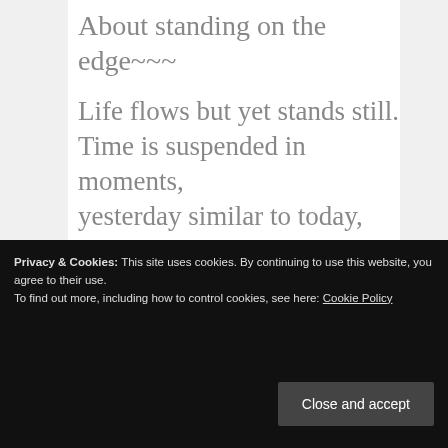About standing on the edge~~~
Life flows but yet stands still.
Time is suspended in moments,
yesterday similar to today,
tomorrow will follow its predecessor.
Privacy & Cookies: This site uses cookies. By continuing to use this website, you agree to their use.
To find out more, including how to control cookies, see here: Cookie Policy
Close and accept